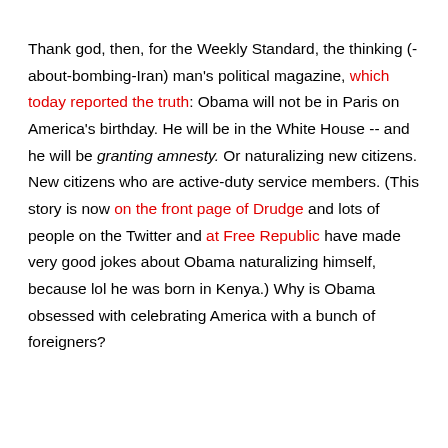Thank god, then, for the Weekly Standard, the thinking (-about-bombing-Iran) man's political magazine, which today reported the truth: Obama will not be in Paris on America's birthday. He will be in the White House -- and he will be granting amnesty. Or naturalizing new citizens. New citizens who are active-duty service members. (This story is now on the front page of Drudge and lots of people on the Twitter and at Free Republic have made very good jokes about Obama naturalizing himself, because lol he was born in Kenya.) Why is Obama obsessed with celebrating America with a bunch of foreigners?